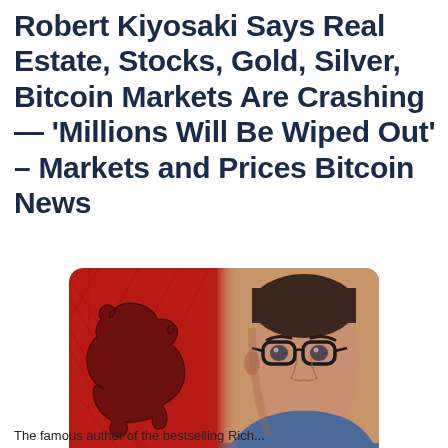Robert Kiyosaki Says Real Estate, Stocks, Gold, Silver, Bitcoin Markets Are Crashing — ‘Millions Will Be Wiped Out’ – Markets and Prices Bitcoin News
[Figure (photo): Composite image with a red background featuring a dark bear silhouette on the left and a photo of Robert Kiyosaki (older Asian-American man with glasses) on the right.]
The famous author of the bestselling Rich...